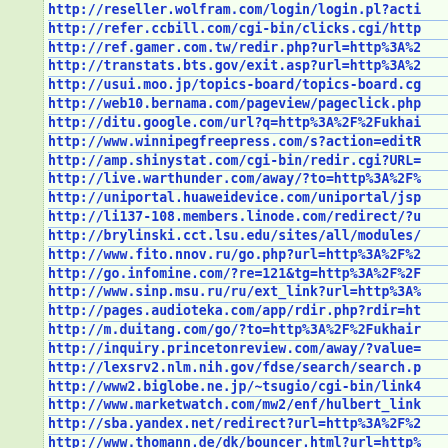http://reseller.wolfram.com/login/login.pl?acti
http://refer.ccbill.com/cgi-bin/clicks.cgi/http
http://ref.gamer.com.tw/redir.php?url=http%3A%2
http://transtats.bts.gov/exit.asp?url=http%3A%2
http://usui.moo.jp/topics-board/topics-board.cg
http://web10.bernama.com/pageview/pageclick.php
http://ditu.google.com/url?q=http%3A%2F%2Fukhai
http://www.winnipegfreepress.com/s?action=editR
http://amp.shinystat.com/cgi-bin/redir.cgi?URL=
http://live.warthunder.com/away/?to=http%3A%2F%
http://uniportal.huaweidevice.com/uniportal/jsp
http://li137-108.members.linode.com/redirect/?u
http://brylinski.cct.lsu.edu/sites/all/modules/
http://www.fito.nnov.ru/go.php?url=http%3A%2F%2
http://go.infomine.com/?re=121&tg=http%3A%2F%2F
http://www.sinp.msu.ru/ru/ext_link?url=http%3A%
http://pages.audioteka.com/app/rdir.php?rdir=ht
http://m.duitang.com/go/?to=http%3A%2F%2Fukhair
http://inquiry.princetonreview.com/away/?value=
http://lexsrv2.nlm.nih.gov/fdse/search/search.p
http://www2.biglobe.ne.jp/~tsugio/cgi-bin/link4
http://www.marketwatch.com/mw2/enf/hulbert_link
http://sba.yandex.net/redirect?url=http%3A%2F%2
http://www.thomann.de/dk/bouncer.html?url=http%
http://community.esri.com/external-link.jspa?ur
http://reseller.wolfram.com/login/login.pl?acti
http://refer.ccbill.com/cgi-bin/clicks.cgi/http